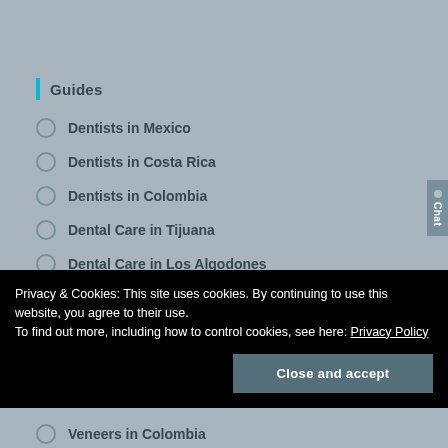Guides
Dentists in Mexico
Dentists in Costa Rica
Dentists in Colombia
Dental Care in Tijuana
Dental Care in Los Algodones
Dental Care in San Jose
Privacy & Cookies: This site uses cookies. By continuing to use this website, you agree to their use.
To find out more, including how to control cookies, see here: Privacy Policy
Close and accept
Veneers in Colombia